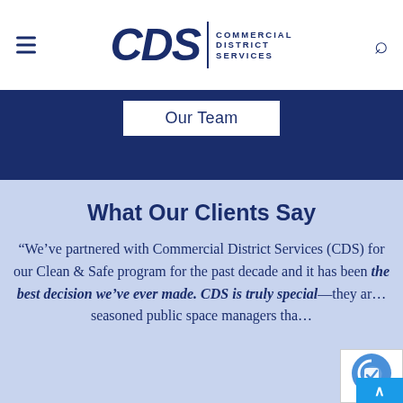CDS | COMMERCIAL DISTRICT SERVICES
Our Team
What Our Clients Say
“We’ve partnered with Commercial District Services (CDS) for our Clean & Safe program for the past decade and it has been the best decision we’ve ever made. CDS is truly special—they are seasoned public space managers tha…